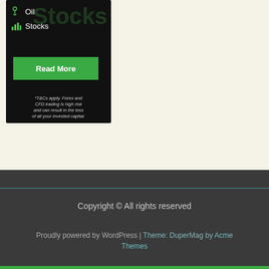[Figure (screenshot): Dark-themed advertisement banner showing oil and stocks icons with 'Stocks' watermark text, a green 'Read More' button, and a disclaimer about T&Cs, Forex and CFD trading risks.]
Copyright © All rights reserved
Proudly powered by WordPress | Theme: DuperMag by Acme Themes